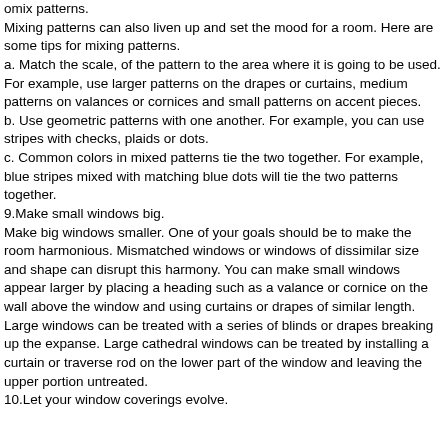omix patterns.
Mixing patterns can also liven up and set the mood for a room. Here are some tips for mixing patterns.
a. Match the scale, of the pattern to the area where it is going to be used. For example, use larger patterns on the drapes or curtains, medium patterns on valances or cornices and small patterns on accent pieces.
b. Use geometric patterns with one another. For example, you can use stripes with checks, plaids or dots.
c. Common colors in mixed patterns tie the two together. For example, blue stripes mixed with matching blue dots will tie the two patterns together.
9.Make small windows big.
Make big windows smaller. One of your goals should be to make the room harmonious. Mismatched windows or windows of dissimilar size and shape can disrupt this harmony. You can make small windows appear larger by placing a heading such as a valance or cornice on the wall above the window and using curtains or drapes of similar length. Large windows can be treated with a series of blinds or drapes breaking up the expanse. Large cathedral windows can be treated by installing a curtain or traverse rod on the lower part of the window and leaving the upper portion untreated.
10.Let your window coverings evolve.